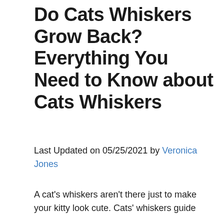Do Cats Whiskers Grow Back? Everything You Need to Know about Cats Whiskers
Last Updated on 05/25/2021 by Veronica Jones
A cat's whiskers aren't there just to make your kitty look cute. Cats' whiskers guide